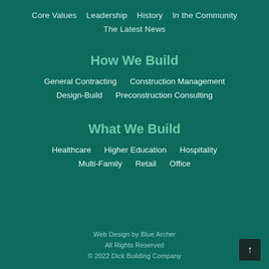Core Values
Leadership
History
In the Community
The Latest News
How We Build
General Contracting
Construction Management
Design-Build
Preconstruction Consulting
What We Build
Healthcare
Higher Education
Hospitality
Multi-Family
Retail
Office
Web Design by Blue Archer
All Rights Reserved
© 2022 Dick Building Company